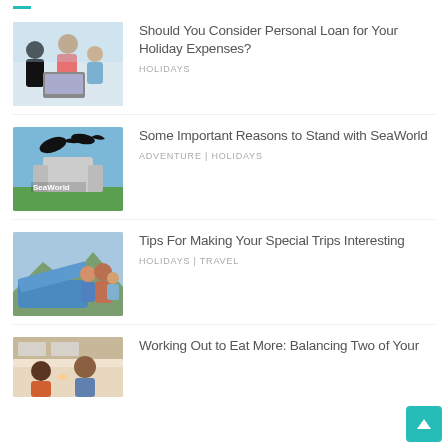[Figure (photo): Family with laptop, holiday travel theme]
Should You Consider Personal Loan for Your Holiday Expenses?
HOLIDAYS
[Figure (photo): SeaWorld sign with orca silhouette]
Some Important Reasons to Stand with SeaWorld
ADVENTURE | HOLIDAYS
[Figure (photo): Family by car on road trip]
Tips For Making Your Special Trips Interesting
HOLIDAYS | TRAVEL
[Figure (photo): Couple cooking or eating together]
Working Out to Eat More: Balancing Two of Your